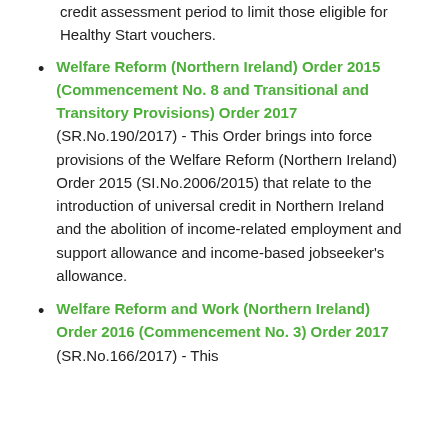credit assessment period to limit those eligible for Healthy Start vouchers.
Welfare Reform (Northern Ireland) Order 2015 (Commencement No. 8 and Transitional and Transitory Provisions) Order 2017 (SR.No.190/2017) - This Order brings into force provisions of the Welfare Reform (Northern Ireland) Order 2015 (SI.No.2006/2015) that relate to the introduction of universal credit in Northern Ireland and the abolition of income-related employment and support allowance and income-based jobseeker's allowance.
Welfare Reform and Work (Northern Ireland) Order 2016 (Commencement No. 3) Order 2017 (SR.No.166/2017) - This